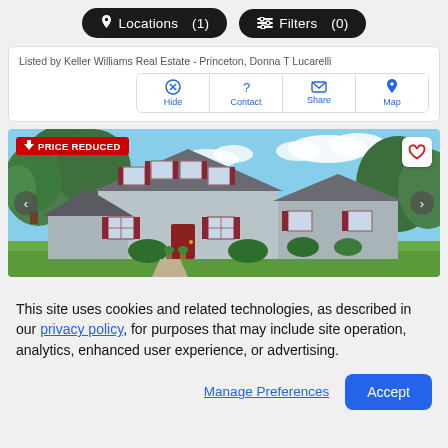Locations (1)   Filters (0)
Listed by Keller Williams Real Estate - Princeton, Donna T Lucarelli
Hide  Contact  Share  Map
[Figure (photo): Exterior photo of a large colonial-style house with gray siding, burgundy shutters, and mature trees. Shows a PRICE REDUCED badge, heart/favorite button, and left/right navigation arrows.]
This site uses cookies and related technologies, as described in our privacy policy, for purposes that may include site operation, analytics, enhanced user experience, or advertising.
Manage Preferences  Accept